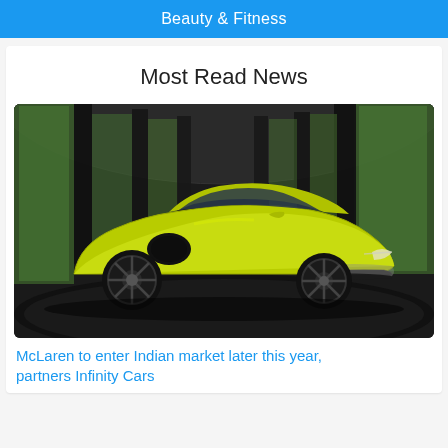Beauty & Fitness
Most Read News
[Figure (photo): A lime-green McLaren Artura supercar displayed in a showroom with a dark circular platform and green backlit panels in the background.]
McLaren to enter Indian market later this year, partners Infinity Cars